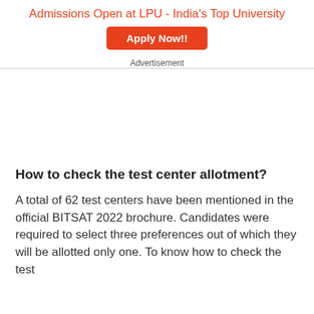Admissions Open at LPU - India's Top University
[Figure (other): Orange Apply Now!! button advertisement banner for LPU]
Advertisement
How to check the test center allotment?
A total of 62 test centers have been mentioned in the official BITSAT 2022 brochure. Candidates were required to select three preferences out of which they will be allotted only one. To know how to check the test